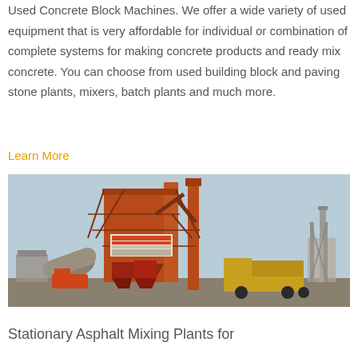Used Concrete Block Machines. We offer a wide variety of used equipment that is very affordable for individual or combination of complete systems for making concrete products and ready mix concrete. You can choose from used building block and paving stone plants, mixers, batch plants and much more.
Learn More
[Figure (photo): Large industrial orange asphalt/concrete mixing plant with tall vertical tower structure, conveyor belts, silos, and dump trucks parked nearby at a construction site.]
Stationary Asphalt Mixing Plants for